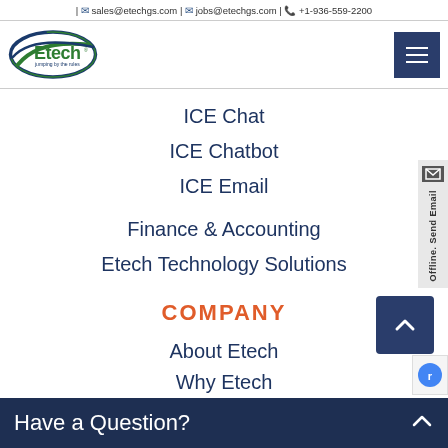| sales@etechgs.com | jobs@etechgs.com | +1-936-559-2200
[Figure (logo): Etech logo - green and dark blue oval swoosh with Etech text]
ICE Chat
ICE Chatbot
ICE Email
Finance & Accounting
Etech Technology Solutions
COMPANY
About Etech
Why Etech
Have a Question?